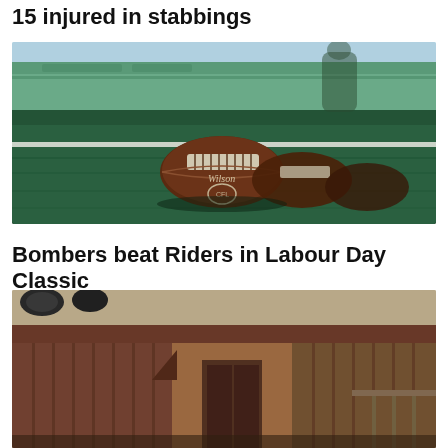15 injured in stabbings
[Figure (photo): Wilson CFL footballs lined up on green turf at a CFL stadium with a player and green stadium seating visible in the blurred background]
Bombers beat Riders in Labour Day Classic
[Figure (photo): Exterior view of a building with red/brown metal panels and industrial structures, partially cropped at bottom of page]